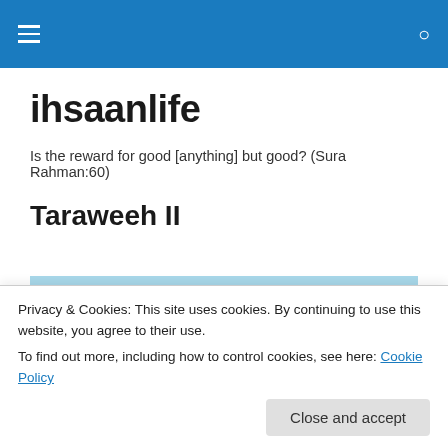ihsaanlife — navigation bar with hamburger menu and search icon
ihsaanlife
Is the reward for good [anything] but good? (Sura Rahman:60)
Tarawaweeh II
[Figure (illustration): Decorative painting with blue wave patterns and Arabic calligraphy on a blue background]
Privacy & Cookies: This site uses cookies. By continuing to use this website, you agree to their use.
To find out more, including how to control cookies, see here: Cookie Policy
Close and accept